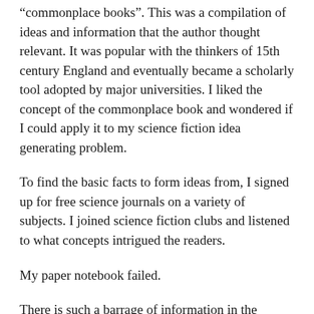“commonplace books”. This was a compilation of ideas and information that the author thought relevant. It was popular with the thinkers of 15th century England and eventually became a scholarly tool adopted by major universities. I liked the concept of the commonplace book and wondered if I could apply it to my science fiction idea generating problem.
To find the basic facts to form ideas from, I signed up for free science journals on a variety of subjects. I joined science fiction clubs and listened to what concepts intrigued the readers.
My paper notebook failed.
There is such a barrage of information in the journals, many fields are expanding their knowledge at speeds that make it difficult to keep up with, that copying the information by hand became overwhelming. I switched to using Evernote and set up folders where I could cut and paste various science-based articles that I thought might have a possible idea to base a